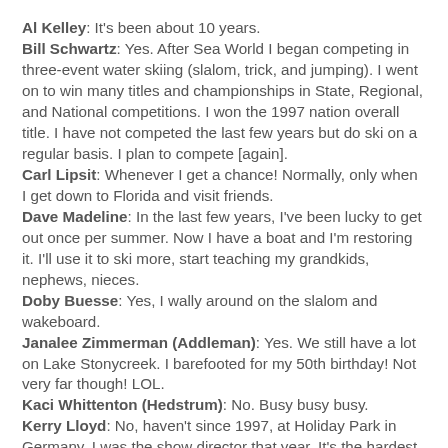Al Kelley: It's been about 10 years. Bill Schwartz: Yes. After Sea World I began competing in three-event water skiing (slalom, trick, and jumping). I went on to win many titles and championships in State, Regional, and National competitions. I won the 1997 nation overall title. I have not competed the last few years but do ski on a regular basis. I plan to compete [again]. Carl Lipsit: Whenever I get a chance! Normally, only when I get down to Florida and visit friends. Dave Madeline: In the last few years, I've been lucky to get out once per summer. Now I have a boat and I'm restoring it. I'll use it to ski more, start teaching my grandkids, nephews, nieces. Doby Buesse: Yes, I wally around on the slalom and wakeboard. Janalee Zimmerman (Addleman): Yes. We still have a lot on Lake Stonycreek. I barefooted for my 50th birthday! Not very far though! LOL. Kaci Whittenton (Hedstrum): No. Busy busy busy. Kerry Lloyd: No, haven't since 1997, at Holiday Park in Germany. I was the show director that year. It's the hardest